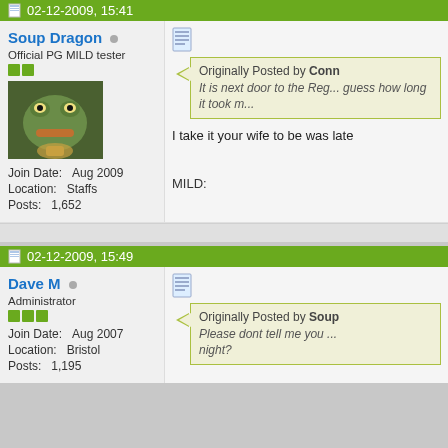02-12-2009, 15:41
Soup Dragon — Official PG MILD tester
Join Date: Aug 2009
Location: Staffs
Posts: 1,652
Originally Posted by Conn
It is next door to the Reg... guess how long it took m...
I take it your wife to be was late
MILD:
02-12-2009, 15:49
Dave M — Administrator
Join Date: Aug 2007
Location: Bristol
Posts: 1,195
Originally Posted by Soup
Please dont tell me you ... night?